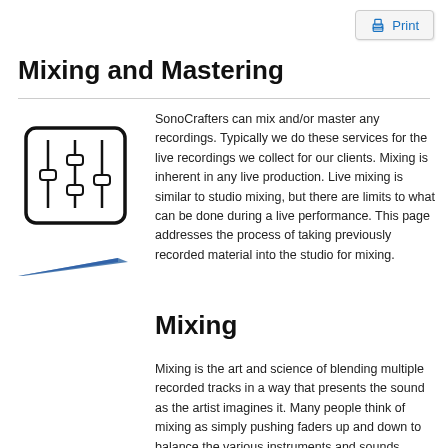Print
Mixing and Mastering
[Figure (illustration): Icon of an audio mixer/fader board with vertical sliders and knobs inside a rounded rectangle border]
[Figure (illustration): Small image of a blue cassette tape or recording media, partially visible]
SonoCrafters can mix and/or master any recordings. Typically we do these services for the live recordings we collect for our clients. Mixing is inherent in any live production. Live mixing is similar to studio mixing, but there are limits to what can be done during a live performance. This page addresses the process of taking previously recorded material into the studio for mixing.
Mixing
Mixing is the art and science of blending multiple recorded tracks in a way that presents the sound as the artist imagines it. Many people think of mixing as simply pushing faders up and down to balance the various instruments and sounds. Today,